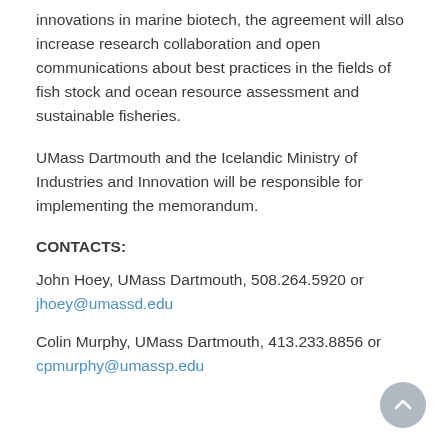innovations in marine biotech, the agreement will also increase research collaboration and open communications about best practices in the fields of fish stock and ocean resource assessment and sustainable fisheries.
UMass Dartmouth and the Icelandic Ministry of Industries and Innovation will be responsible for implementing the memorandum.
CONTACTS:
John Hoey, UMass Dartmouth, 508.264.5920 or jhoey@umassd.edu
Colin Murphy, UMass Dartmouth, 413.233.8856 or cpmurphy@umassp.edu